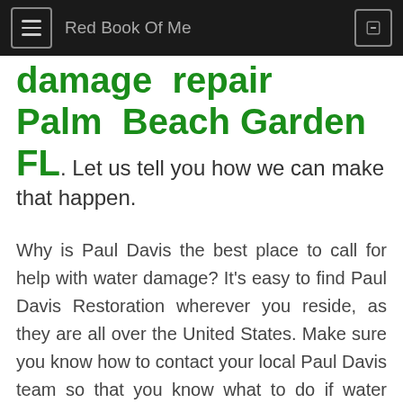Red Book Of Me
damage repair Palm Beach Garden FL. Let us tell you how we can make that happen.
Why is Paul Davis the best place to call for help with water damage? It's easy to find Paul Davis Restoration wherever you reside, as they are all over the United States. Make sure you know how to contact your local Paul Davis team so that you know what to do if water damage happens in your home.